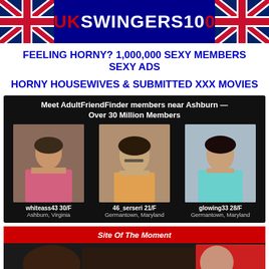UKSWINGERS100
FEELING HORNY? 1,000,000 SEXY MEMBERS SEXY ADS
HORNY HOUSEWIVES & SUBMITTED XXX MOVIES
[Figure (infographic): AdultFriendFinder member profiles widget showing 'Meet AdultFriendFinder members near Ashburn — Over 30 Million Members' with three female profile photos: whiteass43 30/F Ashburn Virginia, 46_serseri 21/F Germantown Maryland, glowing33 28/F Germantown Maryland]
Site Of The Moment
[Figure (photo): Partial photo of couple in intimate setting, woman in red dress]